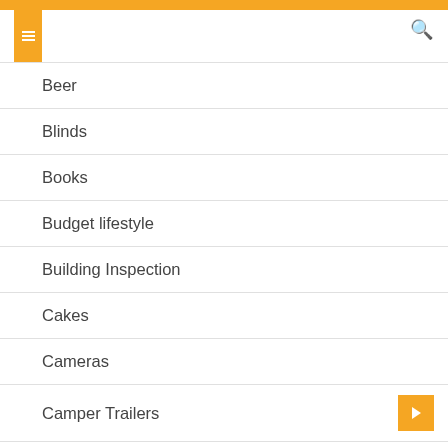Beer
Blinds
Books
Budget lifestyle
Building Inspection
Cakes
Cameras
Camper Trailers
Car restoration services